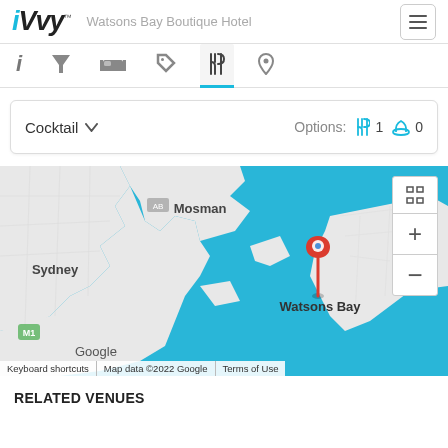iVvy - Watsons Bay Boutique Hotel
[Figure (screenshot): Navigation tab bar with icons: info, filter, bed, tag, cutlery (active/selected with blue underline), location pin]
Cocktail ▾  Options: 🍴 1  🍷 0
[Figure (map): Google Maps showing Watsons Bay area in Sydney, Australia. Water shown in blue, land in white/grey. Red location pin placed at Watsons Bay. Labels visible: Mosman, Sydney, Watsons Bay, M1, Google. Map controls show expand, plus (+) and minus (-) buttons. Map footer: Keyboard shortcuts | Map data ©2022 Google | Terms of Use]
RELATED VENUES